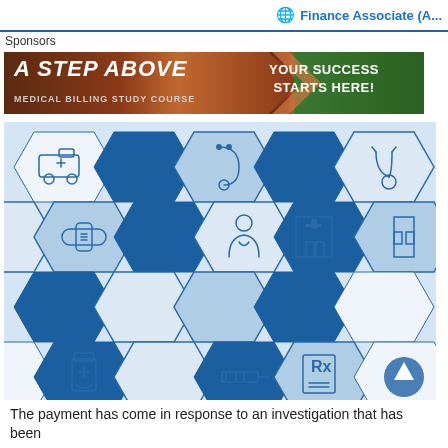Finance Associate (A...
Sponsors
[Figure (illustration): Advertisement banner: 'A STEP ABOVE - MEDICAL BILLING STUDY COURSE' with green right section reading 'YOUR SUCCESS STARTS HERE!']
[Figure (illustration): Medical billing themed hexagonal tile pattern with isometric blue/white cubes containing medical icons: ambulance, stethoscope, bandage, doctor, hospital building, pill bottle, syringe, prescription pad]
The payment has come in response to an investigation that has been